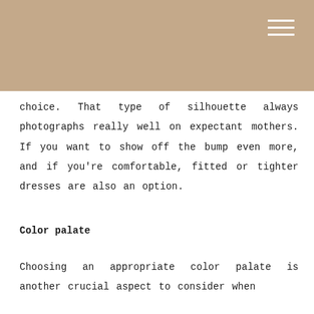choice. That type of silhouette always photographs really well on expectant mothers. If you want to show off the bump even more, and if you're comfortable, fitted or tighter dresses are also an option.
Color palate
Choosing an appropriate color palate is another crucial aspect to consider when